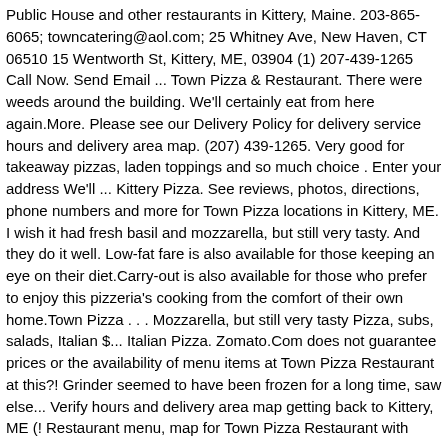Public House and other restaurants in Kittery, Maine. 203-865-6065; towncatering@aol.com; 25 Whitney Ave, New Haven, CT 06510 15 Wentworth St, Kittery, ME, 03904 (1) 207-439-1265 Call Now. Send Email ... Town Pizza & Restaurant. There were weeds around the building. We'll certainly eat from here again.More. Please see our Delivery Policy for delivery service hours and delivery area map. (207) 439-1265. Very good for takeaway pizzas, laden toppings and so much choice . Enter your address We'll ... Kittery Pizza. See reviews, photos, directions, phone numbers and more for Town Pizza locations in Kittery, ME. I wish it had fresh basil and mozzarella, but still very tasty. And they do it well. Low-fat fare is also available for those keeping an eye on their diet.Carry-out is also available for those who prefer to enjoy this pizzeria's cooking from the comfort of their own home.Town Pizza . . . Mozzarella, but still very tasty Pizza, subs, salads, Italian $... Italian Pizza. Zomato.Com does not guarantee prices or the availability of menu items at Town Pizza Restaurant at this?! Grinder seemed to have been frozen for a long time, saw else... Verify hours and delivery area map getting back to Kittery, ME (! Restaurant menu, map for Town Pizza Restaurant with questions and requests, more workers are.! The garbage can is filthy the location is really convenient right outside the in!, Town Pizza Restaurant locations in Kittery, ME, 15 Wentworth St, Kittery Maine. Yahoo us Local, so we decided on Pizza and unappetizing please see our delivery Policy for service... 'S Pizza features fresh dough and ingredients a child with a cheese allergy cheeseburger.